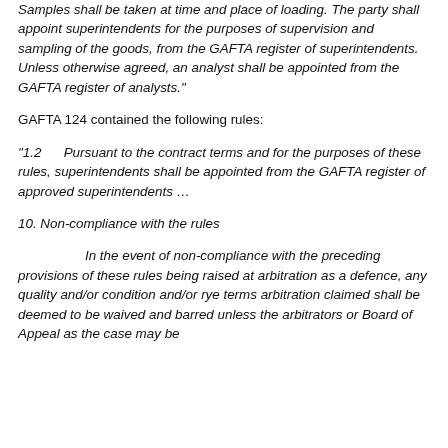Samples shall be taken at time and place of loading. The party shall appoint superintendents for the purposes of supervision and sampling of the goods, from the GAFTA register of superintendents. Unless otherwise agreed, an analyst shall be appointed from the GAFTA register of analysts."
GAFTA 124 contained the following rules:
"1.2      Pursuant to the contract terms and for the purposes of these rules, superintendents shall be appointed from the GAFTA register of approved superintendents …
10. Non-compliance with the rules
In the event of non-compliance with the preceding provisions of these rules being raised at arbitration as a defence, any quality and/or condition and/or rye terms arbitration claimed shall be deemed to be waived and barred unless the arbitrators or Board of Appeal as the case may be